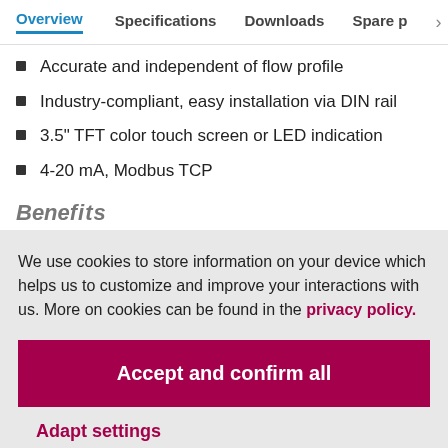Overview  Specifications  Downloads  Spare p >
Accurate and independent of flow profile
Industry-compliant, easy installation via DIN rail
3.5" TFT color touch screen or LED indication
4-20 mA, Modbus TCP
Benefits
We use cookies to store information on your device which helps us to customize and improve your interactions with us. More on cookies can be found in the privacy policy.
Accept and confirm all
Adapt settings